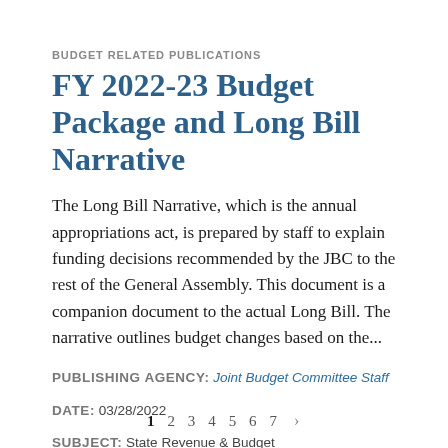BUDGET RELATED PUBLICATIONS
FY 2022-23 Budget Package and Long Bill Narrative
The Long Bill Narrative, which is the annual appropriations act, is prepared by staff to explain funding decisions recommended by the JBC to the rest of the General Assembly.  This document is a companion document to the actual Long Bill.  The narrative outlines budget changes based on the...
PUBLISHING AGENCY: Joint Budget Committee Staff
DATE: 03/28/2022
SUBJECT: State Revenue & Budget
1 2 3 4 5 6 7 >